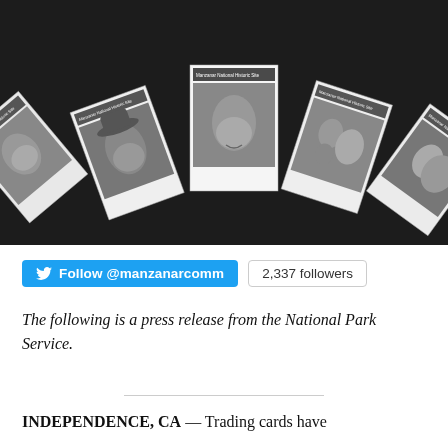[Figure (photo): Fan of five black-and-white trading cards fanned out on a dark background. Each card is labeled 'Manzanar National Historic Site' at the top. The cards show portrait photos of Japanese American individuals — a young woman, an elderly man with glasses and a cap, a smiling middle-aged man, a family group (man with two children), and a young woman with a man.]
Follow @manzanarcomm   2,337 followers
The following is a press release from the National Park Service.
INDEPENDENCE, CA — Trading cards have